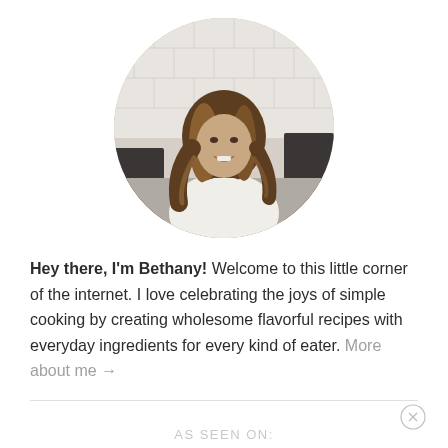[Figure (photo): Circular cropped profile photo of a young woman with long wavy brown hair with highlights, smiling, wearing a white sleeveless top, standing in a kitchen with white subway tile backsplash in the background.]
Hey there, I'm Bethany! Welcome to this little corner of the internet. I love celebrating the joys of simple cooking by creating wholesome flavorful recipes with everyday ingredients for every kind of eater. More about me →